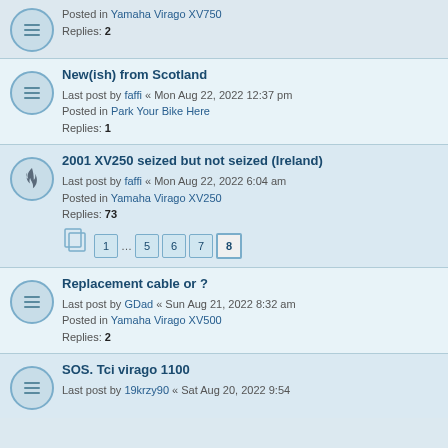Posted in Yamaha Virago XV750
Replies: 2
New(ish) from Scotland
Last post by faffi « Mon Aug 22, 2022 12:37 pm
Posted in Park Your Bike Here
Replies: 1
2001 XV250 seized but not seized (Ireland)
Last post by faffi « Mon Aug 22, 2022 6:04 am
Posted in Yamaha Virago XV250
Replies: 73
Pages: 1 ... 5 6 7 8
Replacement cable or ?
Last post by GDad « Sun Aug 21, 2022 8:32 am
Posted in Yamaha Virago XV500
Replies: 2
SOS. Tci virago 1100
Last post by 19krzy90 « Sat Aug 20, 2022 9:54